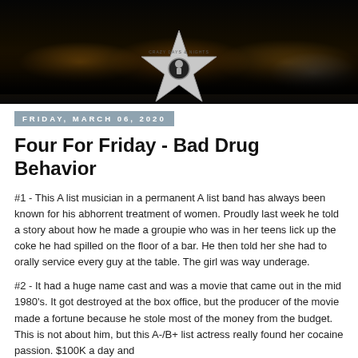[Figure (photo): Website header banner showing a nighttime city skyline with orange lights, overlaid with a large silver Hollywood Walk of Fame style star with text 'CRAZY DAYS & NIGHTS' and a small icon in the center.]
FRIDAY, MARCH 06, 2020
Four For Friday - Bad Drug Behavior
#1 - This A list musician in a permanent A list band has always been known for his abhorrent treatment of women. Proudly last week he told a story about how he made a groupie who was in her teens lick up the coke he had spilled on the floor of a bar. He then told her she had to orally service every guy at the table. The girl was way underage.
#2 - It had a huge name cast and was a movie that came out in the mid 1980's. It got destroyed at the box office, but the producer of the movie made a fortune because he stole most of the money from the budget. This is not about him, but this A-/B+ list actress really found her cocaine passion. $100K a day and...